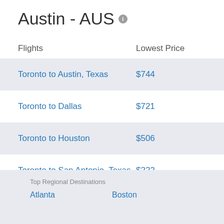Austin - AUS
| Flights | Lowest Price |
| --- | --- |
| Toronto to Austin, Texas | $744 |
| Toronto to Dallas | $721 |
| Toronto to Houston | $506 |
| Toronto to San Antonio, Texas | $222 |
Top Regional Destinations
Atlanta
Boston